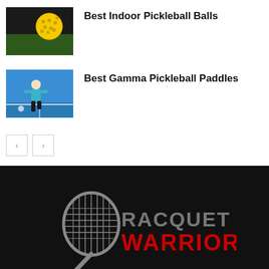[Figure (photo): Yellow pickleball on dark background]
Best Indoor Pickleball Balls
[Figure (photo): Woman playing pickleball on blue court]
Best Gamma Pickleball Paddles
[Figure (other): Pagination buttons with left and right arrows]
[Figure (logo): Racquet Warrior logo with racquet illustration, gray RACQUET text and red WARRIOR text on black background]
x